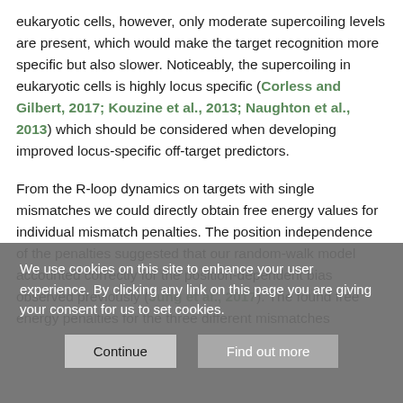eukaryotic cells, however, only moderate supercoiling levels are present, which would make the target recognition more specific but also slower. Noticeably, the supercoiling in eukaryotic cells is highly locus specific (Corless and Gilbert, 2017; Kouzine et al., 2013; Naughton et al., 2013) which should be considered when developing improved locus-specific off-target predictors.
From the R-loop dynamics on targets with single mismatches we could directly obtain free energy values for individual mismatch penalties. The position independence of the penalties suggested that our random-walk model accounted correctly for the position-dependent bias observed previously (Jung et al., 2017). The found free energy penalties for the three different mismatches
We use cookies on this site to enhance your user experience. By clicking any link on this page you are giving your consent for us to set cookies.